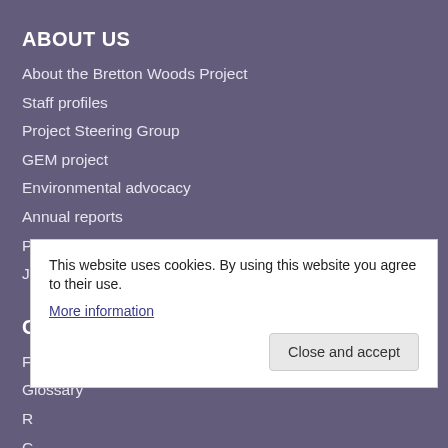ABOUT US
About the Bretton Woods Project
Staff profiles
Project Steering Group
GEM project
Environmental advocacy
Annual reports
Project news
Job opportunities
CONTENT
FAQ
Glossary
This website uses cookies. By using this website you agree to their use.
More information
Close and accept